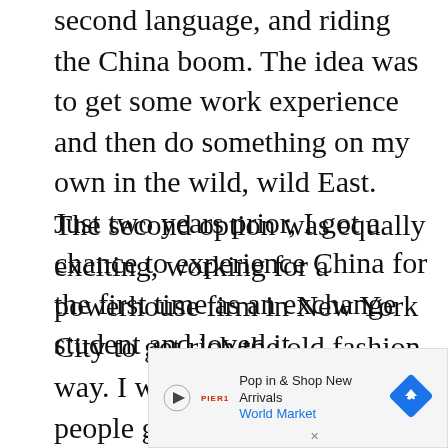second language, and riding the China boom. The idea was to get some work experience and then do something on my own in the wild, wild East. Just two years prior, I got a chance to experience China for the first time as an exchange student and loved it.
The second option was equally exciting, working for a powerhouse firm in New York City to get rich the old fashion way. I was told around 8,000 people globally applied for 60 spots and for some reason, I got one of them. Although I had nothing to lose by going to China, I decided to play it safe and stay in the United States.
[Figure (other): Advertisement banner for World Market: 'Pop in & Shop New Arrivals' with a red play button icon, World Market logo in red, and a blue diamond navigation icon on the right.]